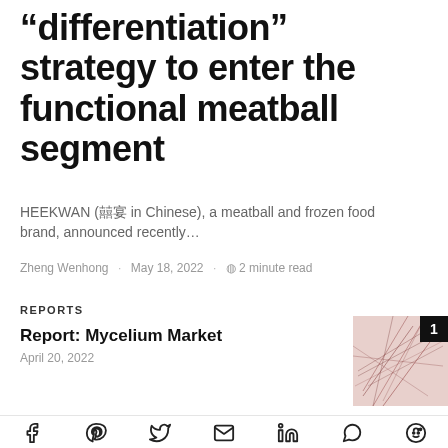“differentiation” strategy to enter the functional meatball segment
HEEKWAN (喜宴 in Chinese), a meatball and frozen food brand, announced recently…
Zheng Wenhong · May 18, 2022 · ⏱ 2 minute read
REPORTS
Report: Mycelium Market
April 20, 2022
[Figure (photo): Close-up photo of mycelium strands on a pinkish background with a black badge showing the number 1]